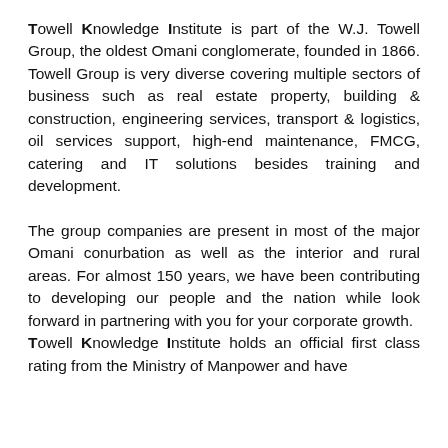Towell Knowledge Institute is part of the W.J. Towell Group, the oldest Omani conglomerate, founded in 1866. Towell Group is very diverse covering multiple sectors of business such as real estate property, building & construction, engineering services, transport & logistics, oil services support, high-end maintenance, FMCG, catering and IT solutions besides training and development.
The group companies are present in most of the major Omani conurbation as well as the interior and rural areas. For almost 150 years, we have been contributing to developing our people and the nation while look forward in partnering with you for your corporate growth.
Towell Knowledge Institute holds an official first class rating from the Ministry of Manpower and have